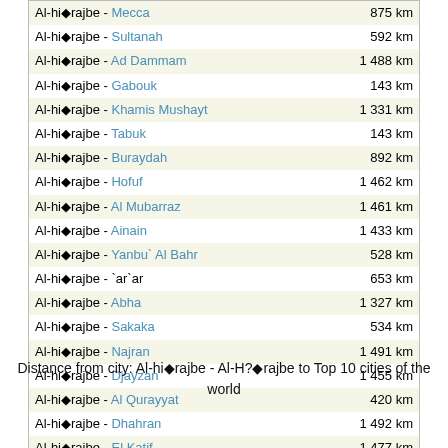| Route | Distance |
| --- | --- |
| Al-hi◆rajbe - Mecca | 875 km |
| Al-hi◆rajbe - Sultanah | 592 km |
| Al-hi◆rajbe - Ad Dammam | 1 488 km |
| Al-hi◆rajbe - Gabouk | 143 km |
| Al-hi◆rajbe - Khamis Mushayt | 1 331 km |
| Al-hi◆rajbe - Tabuk | 143 km |
| Al-hi◆rajbe - Buraydah | 892 km |
| Al-hi◆rajbe - Hofuf | 1 462 km |
| Al-hi◆rajbe - Al Mubarraz | 1 461 km |
| Al-hi◆rajbe - Ainain | 1 433 km |
| Al-hi◆rajbe - Yanbu` Al Bahr | 528 km |
| Al-hi◆rajbe - `ar`ar | 653 km |
| Al-hi◆rajbe - Abha | 1 327 km |
| Al-hi◆rajbe - Sakaka | 534 km |
| Al-hi◆rajbe - Najran | 1 491 km |
| Al-hi◆rajbe - Djayzan | 1 455 km |
| Al-hi◆rajbe - Al Qurayyat | 420 km |
| Al-hi◆rajbe - Dhahran | 1 492 km |
| Al-hi◆rajbe - El Katif | 1 477 km |
| Al-hi◆rajbe - Sakakah | 534 km |
| Al-hi◆rajbe - Al Bahah | 1 099 km |
Distance from city: Al-hi◆rajbe - Al-H?◆rajbe to Top 10 cities of the world